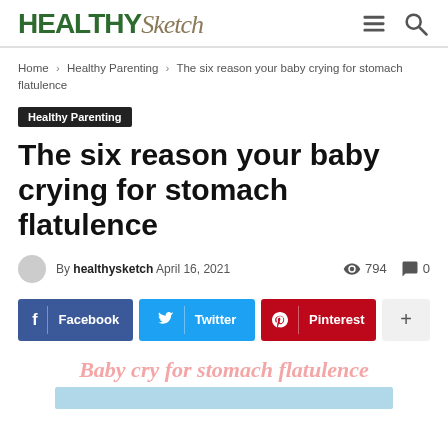HEALTHY Sketch
Home › Healthy Parenting › The six reason your baby crying for stomach flatulence
Healthy Parenting
The six reason your baby crying for stomach flatulence
By healthysketch April 16, 2021  794  0
Facebook  Twitter  Pinterest  +
[Figure (illustration): Watermark text reading 'Baby cry for stomach flatulence' in pink/salmon color, with a light blue image placeholder bar below it]